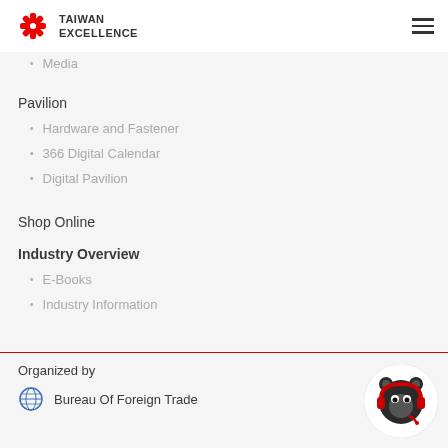TAIWAN EXCELLENCE
Media
Pavilion
Hardware and Fastener
366 Digital Calendar
Digital Pavilion
Shop Online
Industry Overview
E-Books
Industry Information
Organized by
Bureau Of Foreign Trade